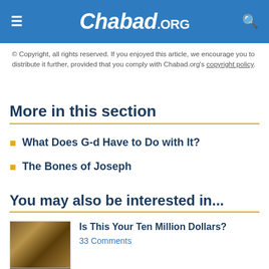Chabad.ORG
© Copyright, all rights reserved. If you enjoyed this article, we encourage you to distribute it further, provided that you comply with Chabad.org's copyright policy.
More in this section
What Does G-d Have to Do with It?
The Bones of Joseph
You may also be interested in...
Is This Your Ten Million Dollars?
33 Comments
What Jews Believe: The Jews